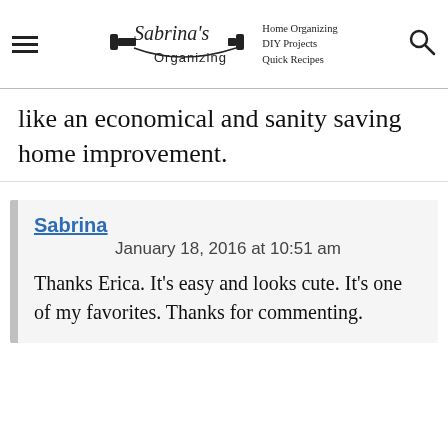Sabrina's Organizing | Home Organizing · DIY Projects · Quick Recipes
like an economical and sanity saving home improvement.
Sabrina
January 18, 2016 at 10:51 am
Thanks Erica. It's easy and looks cute. It's one of my favorites. Thanks for commenting.